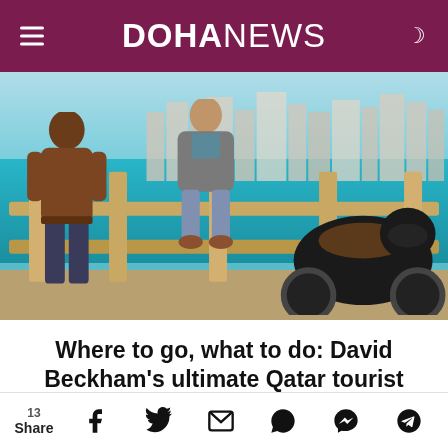DOHANEWS
[Figure (photo): Two men sitting on a wooden fence by the waterfront with a motorcycle nearby, city skyline in the background, Qatar]
Where to go, what to do: David Beckham's ultimate Qatar tourist guide
13 Share | Facebook | Twitter | Email | WhatsApp | Messenger | Telegram